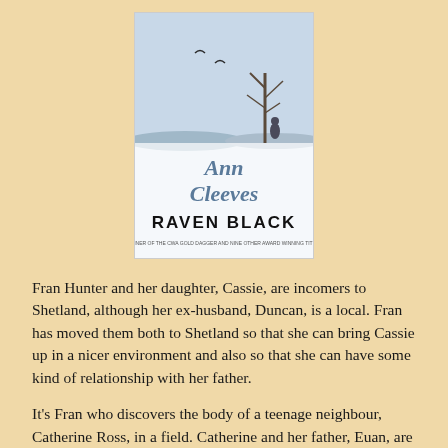[Figure (illustration): Book cover of 'Raven Black' by Ann Cleeves. Winter landscape scene at top with bare tree and figure in snowy field. Author name 'Ann Cleeves' in large blue-grey serif text. 'RAVEN BLACK' in bold black capitals. Tagline text at bottom.]
Fran Hunter and her daughter, Cassie, are incomers to Shetland, although her ex-husband, Duncan, is a local. Fran has moved them both to Shetland so that she can bring Cassie up in a nicer environment and also so that she can have some kind of relationship with her father.
It's Fran who discovers the body of a teenage neighbour, Catherine Ross, in a field. Catherine and her father, Euan, are also incomers having moved there after the death of his wife. Suspicion immediately falls upon Magnus Tait, a simple, almost retarded, man who lives alone. Catherine and her friend Sally Henry had made a drunken visit to his house on New Year's Eve, a couple of days previously. As he had